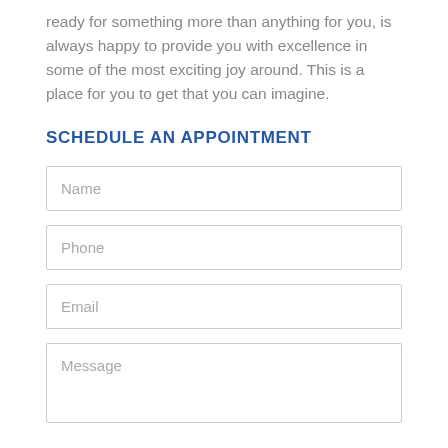ready for something more than anything for you, is always happy to provide you with excellence in some of the most exciting joy around. This is a place for you to get that you can imagine.
SCHEDULE AN APPOINTMENT
Name
Phone
Email
Message